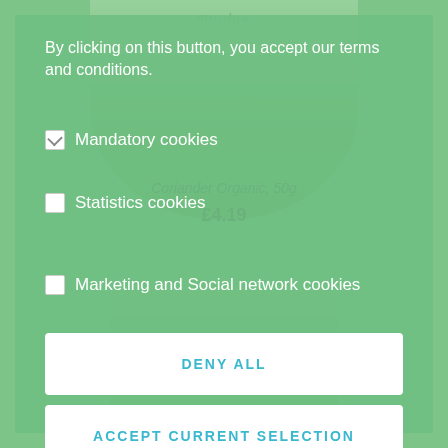[Figure (screenshot): Cookie consent dialog overlay on a green-themed e-commerce website selling organic spices (Mouline brand). Background shows product images of green tins labeled 'Coriander Organic, 50g' priced at £4.19. Overlay has a semi-transparent green background with white text and buttons.]
By clicking on this button, you accept our terms and conditions.
✓ Mandatory cookies
☐ Statistics cookies
☐ Marketing and Social network cookies
DENY ALL
ACCEPT CURRENT SELECTION
ACCEPT ALL